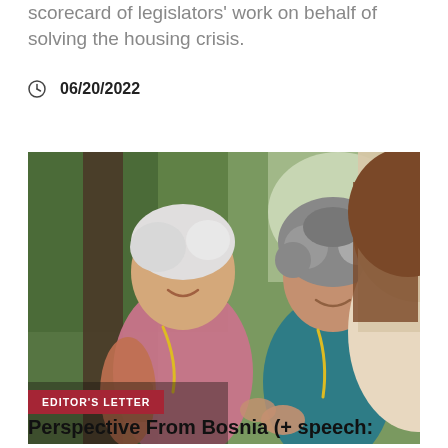scorecard of legislators' work on behalf of solving the housing crisis.
06/20/2022
[Figure (photo): Outdoor gathering scene with three people in conversation. On the left, a woman with short white/silver hair smiling, wearing a pink sleeveless top with tattoos on her arm and a yellow lanyard. In the center, a woman with curly gray hair smiling, wearing a teal/blue top and yellow lanyard. On the right, partially visible from behind, a person with brown hair. Background shows trees and other people outdoors.]
EDITOR'S LETTER
Perspective From Bosnia (+ speech: